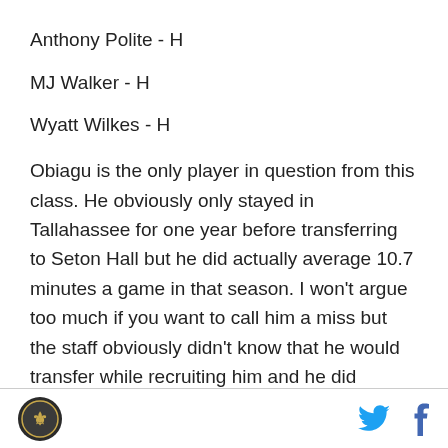Anthony Polite - H
MJ Walker - H
Wyatt Wilkes - H
Obiagu is the only player in question from this class. He obviously only stayed in Tallahassee for one year before transferring to Seton Hall but he did actually average 10.7 minutes a game in that season. I won't argue too much if you want to call him a miss but the staff obviously didn't know that he would transfer while recruiting him and he did contribute to the team as a freshman. He averaged over two blocks a game that
[logo] [twitter] [facebook]